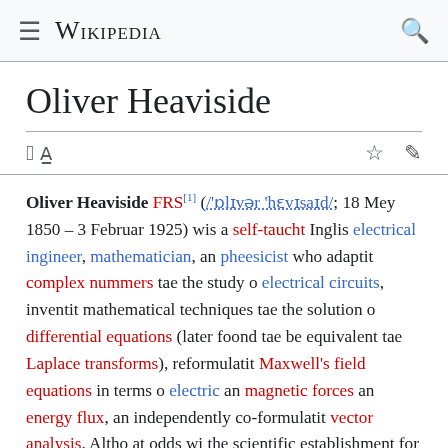Wikipedia
Oliver Heaviside
Oliver Heaviside FRS[1] (/ˈɒlɪvər ˈhɛvɪsaɪd/; 18 Mey 1850 – 3 Februar 1925) wis a self-taucht Inglis electrical ingineer, mathematician, an pheesicist who adaptit complex nummers tae the study o electrical circuits, inventit mathematical techniques tae the solution o differential equations (later foond tae be equivalent tae Laplace transforms), reformulatit Maxwell's field equations in terms o electric an magnetic forces an energy flux, an independently co-formulatit vector analysis. Altho at odds wi the scientific establishment for maist o his life,